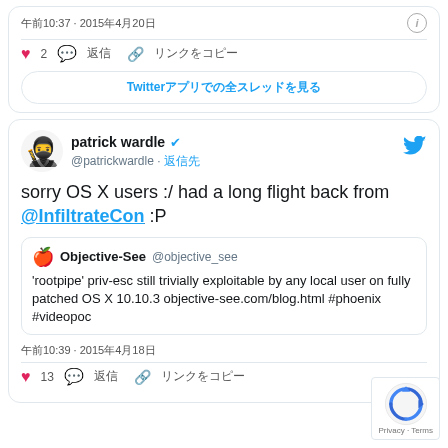午前10:37 · 2015年4月20日
♥ 2  💬 返信  🔗 リンクをコピー
Twitterアプリでの全スレッドを見る
patrick wardle @patrickwardle · 返信先
sorry OS X users :/ had a long flight back from @InfiltrateCon :P
Objective-See @objective_see 'rootpipe' priv-esc still trivially exploitable by any local user on fully patched OS X 10.10.3 objective-see.com/blog.html #phoenix #videopoc
午前10:39 · 2015年4月18日
♥ 13  💬 返信  🔗 リンクをコピー